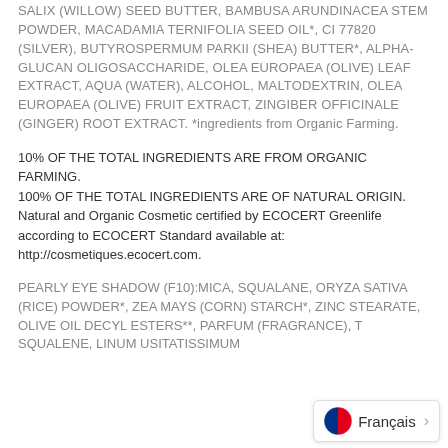SALIX (WILLOW) SEED BUTTER, BAMBUSA ARUNDINACEA STEM POWDER, MACADAMIA TERNIFOLIA SEED OIL*, CI 77820 (SILVER), BUTYROSPERMUM PARKII (SHEA) BUTTER*, ALPHA-GLUCAN OLIGOSACCHARIDE, OLEA EUROPAEA (OLIVE) LEAF EXTRACT, AQUA (WATER), ALCOHOL, MALTODEXTRIN, OLEA EUROPAEA (OLIVE) FRUIT EXTRACT, ZINGIBER OFFICINALE (GINGER) ROOT EXTRACT. *ingredients from Organic Farming.
10% OF THE TOTAL INGREDIENTS ARE FROM ORGANIC FARMING.
100% OF THE TOTAL INGREDIENTS ARE OF NATURAL ORIGIN.
Natural and Organic Cosmetic certified by ECOCERT Greenlife according to ECOCERT Standard available at: http://cosmetiques.ecocert.com.
PEARLY EYE SHADOW (F10):MICA, SQUALANE, ORYZA SATIVA (RICE) POWDER*, ZEA MAYS (CORN) STARCH*, ZINC STEARATE, OLIVE OIL DECYL ESTERS**, PARFUM (FRAGRANCE), T SQUALENE, LINUM USITATISSIMUM